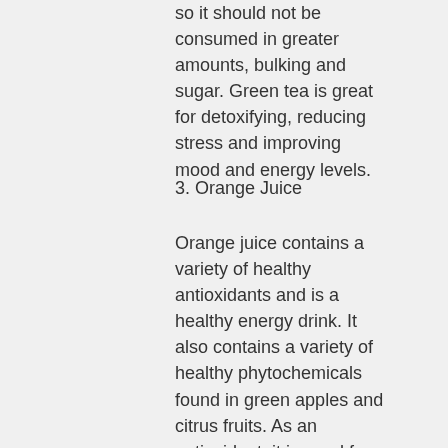so it should not be consumed in greater amounts, bulking and sugar. Green tea is great for detoxifying, reducing stress and improving mood and energy levels.
3. Orange Juice
Orange juice contains a variety of healthy antioxidants and is a healthy energy drink. It also contains a variety of healthy phytochemicals found in green apples and citrus fruits. As an antioxidant, it is good for combating free radical damage and helps protect cells from free radical damage, trenbolone cough. There's also high concentration of flavonoids which are compounds that have anti-inflammatory, antioxidant and anti-cancer effects. It also contains citric acid, which is a bromide, which lowers blood pressure and lowers bad cholesterol, crazy bulk testo-max.